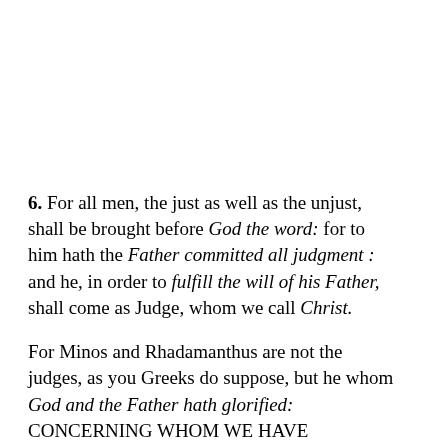6. For all men, the just as well as the unjust, shall be brought before God the word: for to him hath the Father committed all judgment : and he, in order to fulfill the will of his Father, shall come as Judge, whom we call Christ.
For Minos and Rhadamanthus are not the judges, as you Greeks do suppose, but he whom God and the Father hath glorified: CONCERNING WHOM WE HAVE